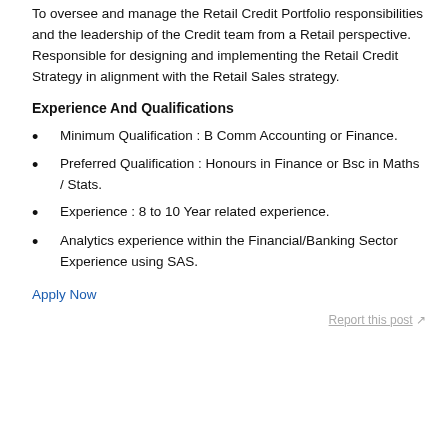To oversee and manage the Retail Credit Portfolio responsibilities and the leadership of the Credit team from a Retail perspective. Responsible for designing and implementing the Retail Credit Strategy in alignment with the Retail Sales strategy.
Experience And Qualifications
Minimum Qualification : B Comm Accounting or Finance.
Preferred Qualification : Honours in Finance or Bsc in Maths / Stats.
Experience : 8 to 10 Year related experience.
Analytics experience within the Financial/Banking Sector Experience using SAS.
Apply Now
Report this post